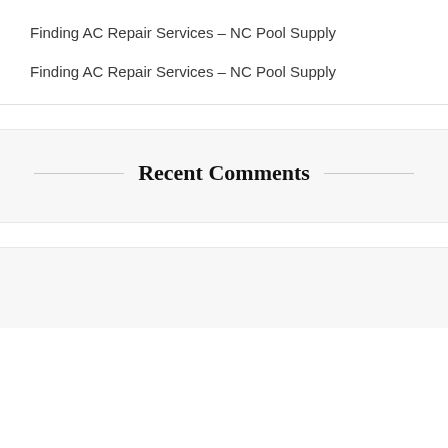Finding AC Repair Services – NC Pool Supply
Finding AC Repair Services – NC Pool Supply
Recent Comments